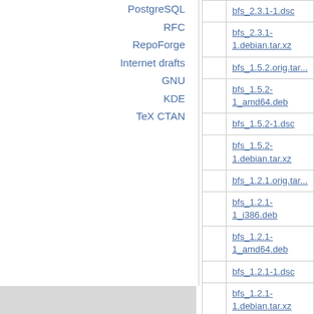PostgreSQL
RFC
RepoForge
Internet drafts
GNU
KDE
TeX CTAN
|  |  |
| --- | --- |
|  | bfs_2.3.1-1.dsc |
|  | bfs_2.3.1-1.debian.tar.xz |
|  | bfs_1.5.2.orig.tar... |
|  | bfs_1.5.2-1_amd64.deb |
|  | bfs_1.5.2-1.dsc |
|  | bfs_1.5.2-1.debian.tar.xz |
|  | bfs_1.2.1.orig.tar... |
|  | bfs_1.2.1-1_i386.deb |
|  | bfs_1.2.1-1_amd64.deb |
|  | bfs_1.2.1-1.dsc |
|  | bfs_1.2.1-1.debian.tar.xz |